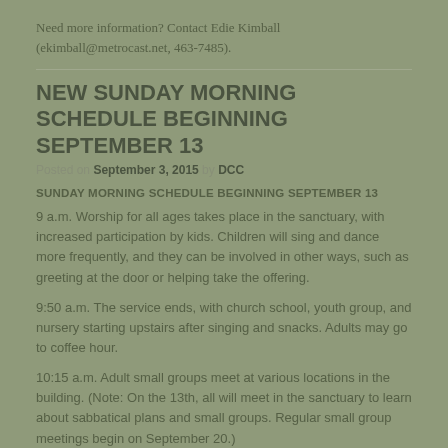Need more information? Contact Edie Kimball (ekimball@metrocast.net, 463-7485).
NEW SUNDAY MORNING SCHEDULE BEGINNING SEPTEMBER 13
Posted on September 3, 2015 by DCC
SUNDAY MORNING SCHEDULE BEGINNING SEPTEMBER 13
9 a.m. Worship for all ages takes place in the sanctuary, with increased participation by kids. Children will sing and dance more frequently, and they can be involved in other ways, such as greeting at the door or helping take the offering.
9:50 a.m. The service ends, with church school, youth group, and nursery starting upstairs after singing and snacks. Adults may go to coffee hour.
10:15 a.m. Adult small groups meet at various locations in the building. (Note: On the 13th, all will meet in the sanctuary to learn about sabbatical plans and small groups. Regular small group meetings begin on September 20.)